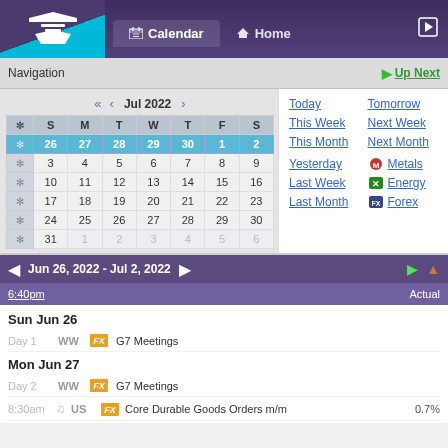Calendar | Home
Navigation | Up Next
[Figure (other): July 2022 calendar widget with week navigation arrows, showing weeks of Jun 26 - Jul 30, with Jun 26-Jul 2 highlighted in teal]
Today | Tomorrow | This Week | Next Week | This Month | Next Month | Yesterday | Metals | Last Week | Energy | Last Month | Forex
Jun 26, 2022 - Jul 2, 2022
6:40pm | Actual
Sun Jun 26
Day 1  WW  G7 Meetings
Mon Jun 27
Day 2  WW  G7 Meetings
8:30am  US  Core Durable Goods Orders m/m  0.7%